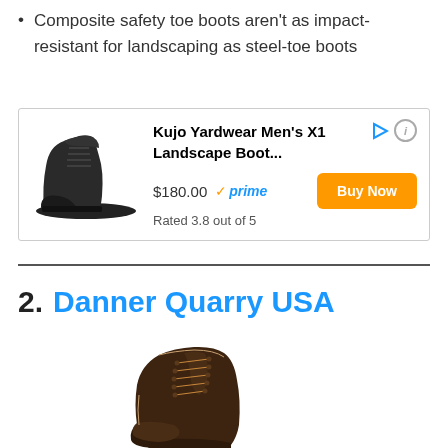Composite safety toe boots aren't as impact-resistant for landscaping as steel-toe boots
[Figure (other): Advertisement box for Kujo Yardwear Men's X1 Landscape Boot, priced at $180.00 with Prime, rated 3.8 out of 5, with a Buy Now button]
2. Danner Quarry USA
[Figure (photo): Close-up photo of a dark brown Danner Quarry USA boot with orange/tan laces, showing the upper portion of the boot]